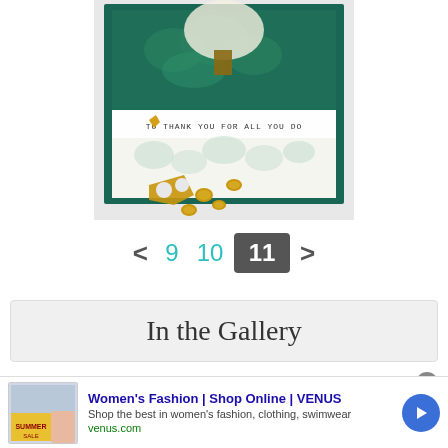[Figure (photo): Handmade greeting card with tree and leaf design, text reading 'TO THANK YOU FOR ALL YOU DO', with gold decorative brads/buttons scattered in front]
< 9 10 11 >
In the Gallery
Women's Fashion | Shop Online | VENUS
Shop the best in women's fashion, clothing, swimwear
venus.com